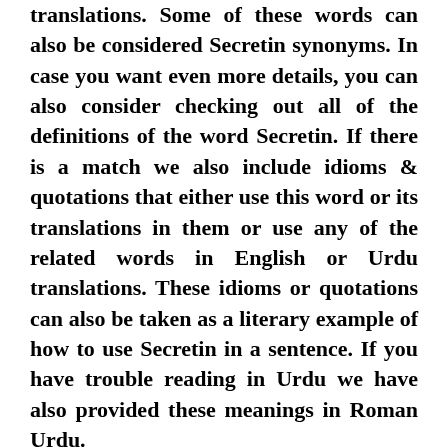translations. Some of these words can also be considered Secretin synonyms. In case you want even more details, you can also consider checking out all of the definitions of the word Secretin. If there is a match we also include idioms & quotations that either use this word or its translations in them or use any of the related words in English or Urdu translations. These idioms or quotations can also be taken as a literary example of how to use Secretin in a sentence. If you have trouble reading in Urdu we have also provided these meanings in Roman Urdu.
We have tried our level best to provide you as much detail on how to say Secretin in Urdu as possible so you could understand its correct English to Urdu translation. We encourage everyone to contribute in adding more meanings to MeaningIn Dictionary by adding English to Urdu translations, Urdu to Roman